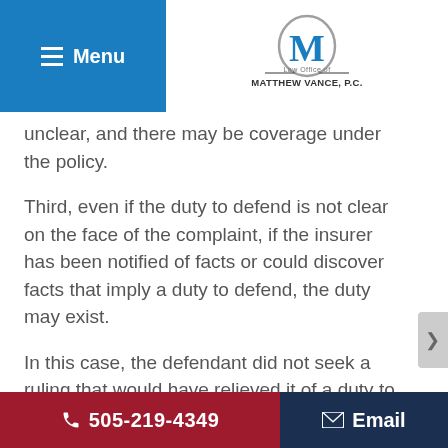Menu | Law Office of Matthew Vance, P.C.
unclear, and there may be coverage under the policy.
Third, even if the duty to defend is not clear on the face of the complaint, if the insurer has been notified of facts or could discover facts that imply a duty to defend, the duty may exist.
In this case, the defendant did not seek a ruling that would have relieved it of a duty to defend. Instead, the appellate court
505-219-4349 | Email